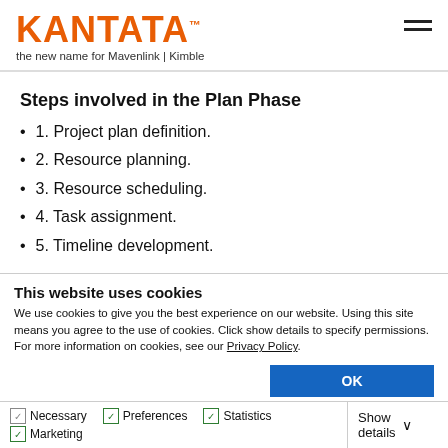KANTATA™ the new name for Mavenlink | Kimble
Steps involved in the Plan Phase
1. Project plan definition.
2. Resource planning.
3. Resource scheduling.
4. Task assignment.
5. Timeline development.
This website uses cookies
We use cookies to give you the best experience on our website. Using this site means you agree to the use of cookies. Click show details to specify permissions. For more information on cookies, see our Privacy Policy.